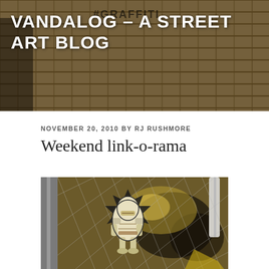VANDALOG – A STREET ART BLOG
NOVEMBER 20, 2010 BY RJ RUSHMORE
Weekend link-o-rama
[Figure (photo): Street art photo showing a sticker of a cartoon-style robot/helmet character on a chain-link fence, with graffiti tags visible behind the fence]